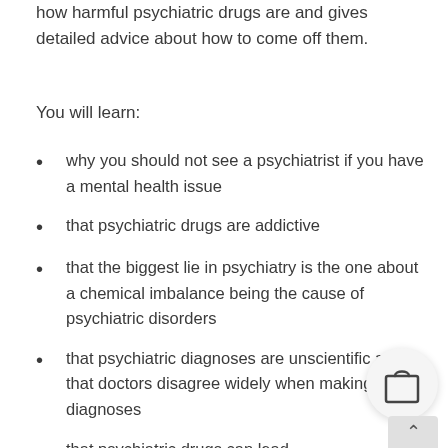how harmful psychiatric drugs are and gives detailed advice about how to come off them.
You will learn:
why you should not see a psychiatrist if you have a mental health issue
that psychiatric drugs are addictive
that the biggest lie in psychiatry is the one about a chemical imbalance being the cause of psychiatric disorders
that psychiatric diagnoses are unscientific and that doctors disagree widely when making diagnoses
that psychiatric drugs can lead